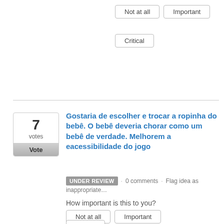Not at all
Important
Critical
7 votes
Gostaria de escolher e trocar a ropinha do bebê. O bebê deveria chorar como um bebê de verdade. Melhorem a eacessibilidade do jogo
UNDER REVIEW · 0 comments · Flag idea as inappropriate…
How important is this to you?
Not at all
Important
Critical